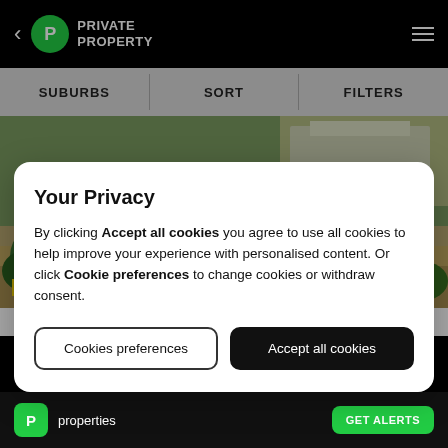Private Property — navigation bar with back arrow, logo, and menu icon
SUBURBS | SORT | FILTERS
[Figure (photo): Aerial view of a property with sparse drought-resistant plants, dry sandy paths, and greenery around the edges. An HD MEDIA badge is in the bottom-left corner. A circular headshot of a blonde female agent is in the bottom-right corner.]
Your Privacy

By clicking Accept all cookies you agree to use all cookies to help improve your experience with personalised content. Or click Cookie preferences to change cookies or withdraw consent.
Cookies preferences
Accept all cookies
properties  GET ALERTS